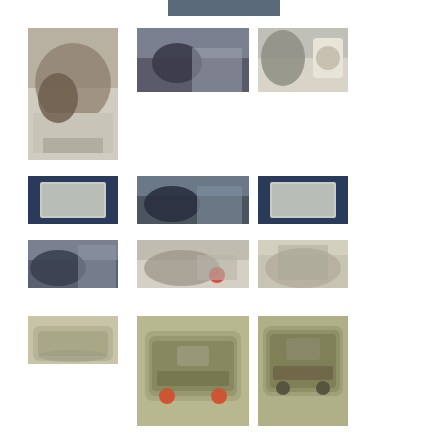[Figure (photo): Top center: partial photo of craft/modeling work on a table]
[Figure (photo): Row 1 left: close-up of hands working with gray clay/putty model]
[Figure (photo): Row 1 center: people sitting around a table painting miniature models]
[Figure (photo): Row 1 right: hands holding gray putty/clay with white container in background]
[Figure (photo): Row 2 left: dark blue surface with a white/silver textured rectangular piece]
[Figure (photo): Row 2 center: people around table with miniature models and blue painted pieces]
[Figure (photo): Row 2 right: dark blue surface with white/silver textured rectangular piece]
[Figure (photo): Row 3 left: person sitting at table painting miniature models]
[Figure (photo): Row 3 center: hands working with gray putty/clay on paper with red tool]
[Figure (photo): Row 3 right: hands holding small tan/green model vehicle piece]
[Figure (photo): Row 4 left: hands holding tan/olive green model vehicle hull]
[Figure (photo): Row 4 center: olive green model tank/APC vehicle close-up]
[Figure (photo): Row 4 right: olive green model tank/APC vehicle from slightly different angle]